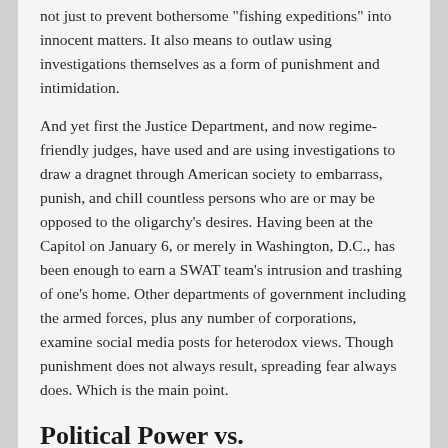not just to prevent bothersome 'fishing expeditions' into innocent matters. It also means to outlaw using investigations themselves as a form of punishment and intimidation.
And yet first the Justice Department, and now regime-friendly judges, have used and are using investigations to draw a dragnet through American society to embarrass, punish, and chill countless persons who are or may be opposed to the oligarchy's desires. Having been at the Capitol on January 6, or merely in Washington, D.C., has been enough to earn a SWAT team's intrusion and trashing of one's home. Other departments of government including the armed forces, plus any number of corporations, examine social media posts for heterodox views. Though punishment does not always result, spreading fear always does. Which is the main point.
Political Power vs. Constitutional Rights
The Fifth Amendment's prohibition of compulsory self-